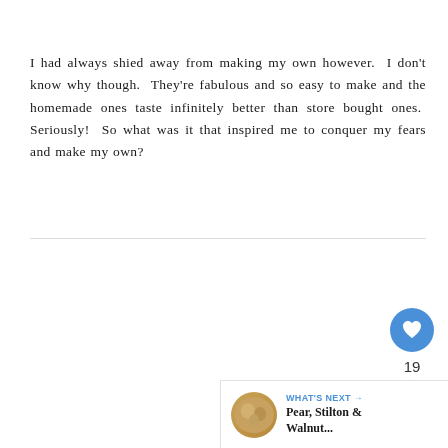I had always shied away from making my own however.  I don't know why though.  They're fabulous and so easy to make and the homemade ones taste infinitely better than store bought ones.  Seriously!  So what was it that inspired me to conquer my fears and make my own?
[Figure (infographic): Social interaction UI elements: a heart/like button (blue circle with heart icon), a like count showing 19, and a share button (circle with share icon). Below is a 'What's Next' recommendation widget showing a food thumbnail and text 'Pear, Stilton & Walnut...']